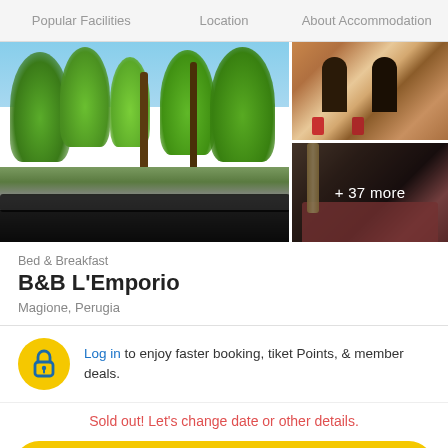Popular Facilities   Location   About Accommodation
[Figure (photo): Hotel property photo collage: main image shows a park/garden view with trees and a road, top-right shows stone building facade, bottom-right shows ornate interior room. Overlay: '+ 37 more']
Bed & Breakfast
B&B L'Emporio
Magione, Perugia
Log in to enjoy faster booking, tiket Points, & member deals.
Sold out! Let's change date or other details.
CHANGE YOUR STAY